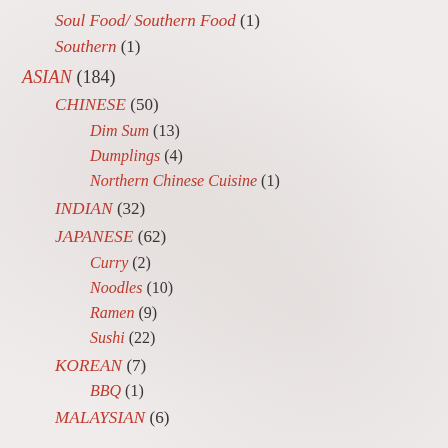Soul Food/ Southern Food (1)
Southern (1)
ASIAN (184)
CHINESE (50)
Dim Sum (13)
Dumplings (4)
Northern Chinese Cuisine (1)
INDIAN (32)
JAPANESE (62)
Curry (2)
Noodles (10)
Ramen (9)
Sushi (22)
KOREAN (7)
BBQ (1)
MALAYSIAN (6)